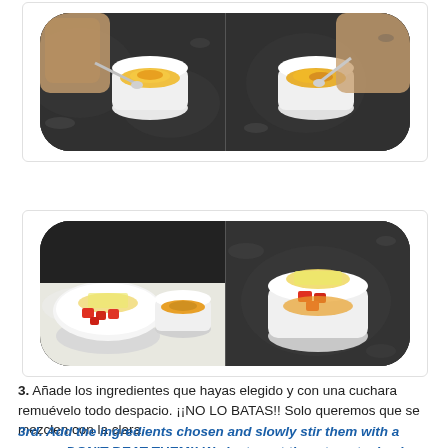[Figure (photo): Two side-by-side photos in a rounded dark rectangle showing hands stirring egg yolk in white cups on a dark marble surface]
[Figure (photo): Two side-by-side photos in a rounded dark rectangle: left shows a white bowl with grated cheese and diced tomatoes next to a cup with egg, right shows all ingredients combined in a white cup on dark marble]
3. Añade los ingredientes que hayas elegido y con una cuchara remuévelo todo despacio. ¡¡NO LO BATAS!! Solo queremos que se mezclen con la clara.
3rd. Add the ingredients chosen and slowly stir them with a spoon. DON'T BEAT THEM!! We just want them to get mixed